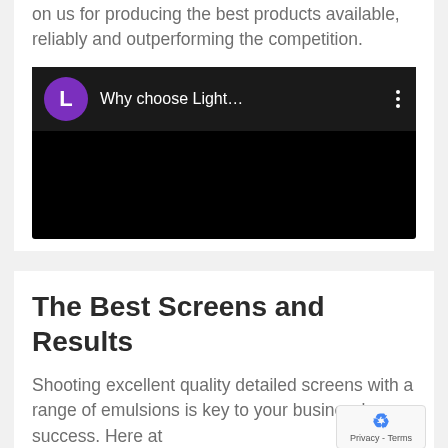on us for producing the best products available, reliably and outperforming the competition.
[Figure (screenshot): Embedded video player with black background. Header shows purple circle avatar with letter L, title 'Why choose Light...' and three-dot menu icon.]
The Best Screens and Results
Shooting excellent quality detailed screens with a range of emulsions is key to your business' success. Here at